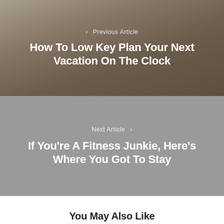< Previous Article
How To Low Key Plan Your Next Vacation On The Clock
Next Article >
If You're A Fitness Junkie, Here's Where You Got To Stay
You May Also Like